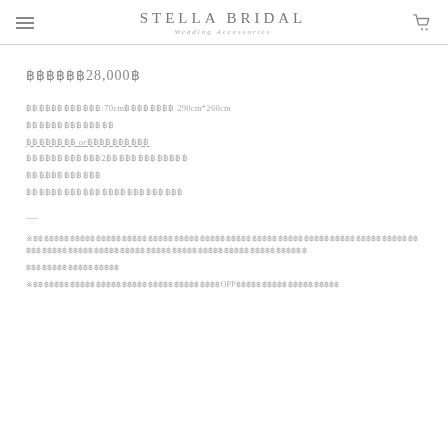STELLA BRIDAL / Wedding Accessories
฿฿฿฿฿฿28,000฿
฿฿฿฿฿฿฿฿฿฿฿฿:70cm฿฿฿฿฿฿฿฿ 290cm*260cm
฿฿฿฿฿฿฿฿฿฿฿฿฿฿
฿฿฿฿฿฿฿฿ or฿฿฿฿฿฿฿฿฿฿
฿฿฿฿฿฿฿฿฿฿฿฿2฿฿฿฿฿฿฿฿฿฿฿฿฿
฿฿฿฿฿฿฿฿฿฿฿฿
฿฿฿฿฿฿฿฿฿฿฿฿฿฿฿฿฿฿฿฿฿฿฿฿฿
----
※฿฿฿฿฿฿฿฿฿฿฿฿฿฿฿฿฿฿฿฿฿฿฿฿฿฿฿฿฿฿฿฿฿฿฿฿฿฿฿฿฿฿฿฿฿฿฿฿฿฿฿฿฿฿฿฿฿฿฿฿฿฿฿฿฿฿฿฿฿฿฿฿฿฿฿฿฿฿฿฿฿฿฿฿฿฿฿฿฿฿฿฿฿฿฿฿฿฿฿฿฿฿฿฿฿฿฿฿฿฿฿฿฿฿฿฿฿฿฿฿฿฿฿฿฿฿฿฿
※฿฿฿฿฿฿฿฿฿฿฿฿฿฿฿฿฿฿฿฿฿฿฿฿฿฿฿฿฿฿฿฿฿฿฿฿OPP฿฿฿฿฿฿฿฿฿฿฿฿฿฿฿฿฿฿฿฿